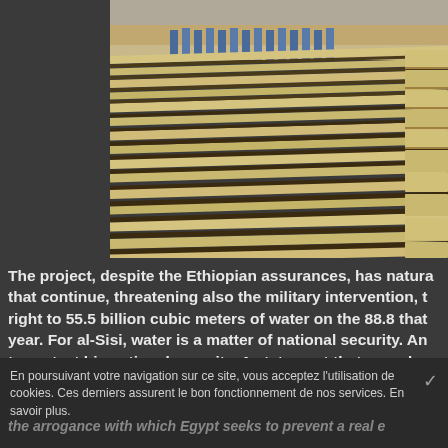[Figure (photo): Aerial or ground-level photo of a large construction site or dam infrastructure, showing rows of concrete/stone blocks and construction materials arranged in parallel lines, likely the Grand Ethiopian Renaissance Dam (GERD) project.]
The project, despite the Ethiopian assurances, has natura that continue, threatening also the military intervention, t right to 55.5 billion cubic meters of water on the 88.8 that year. For al-Sisi, water is a matter of national security. An to protect his national security. A statement that sounds a considers that the Arab state, despite the proclamations a of economic development (doubling of the Suez Canal an gas field), continues to remain a sort of Saudi economic r think of the transfer of sovereignty to the Saudis, obviou
En poursuivant votre navigation sur ce site, vous acceptez l'utilisation de cookies. Ces derniers assurent le bon fonctionnement de nos services. En savoir plus.
the arrogance with which Egypt seeks to prevent a real e